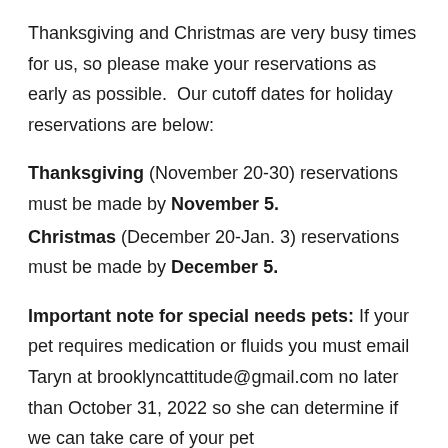Thanksgiving and Christmas are very busy times for us, so please make your reservations as early as possible.  Our cutoff dates for holiday reservations are below:
Thanksgiving (November 20-30) reservations must be made by November 5.
Christmas (December 20-Jan. 3) reservations must be made by December 5.
Important note for special needs pets: If your pet requires medication or fluids you must email Taryn at brooklyncattitude@gmail.com no later than October 31, 2022 so she can determine if we can take care of your pet